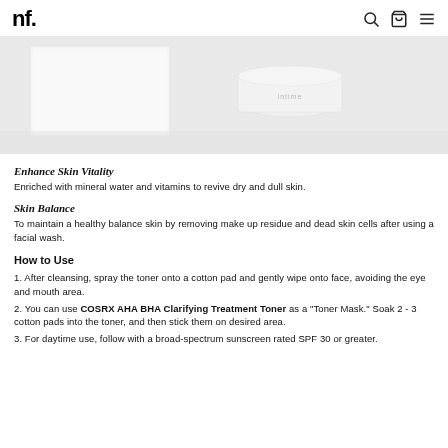nf.
[Figure (photo): Product photo showing white skincare packaging and a small white container on a light grey/white surface]
Enhance Skin Vitality
Enriched with mineral water and vitamins to revive dry and dull skin.
Skin Balance
To maintain a healthy balance skin by removing make up residue and dead skin cells after using a facial wash.
How to Use
1. After cleansing, spray the toner onto a cotton pad and gently wipe onto face, avoiding the eye and mouth area.
2. You can use COSRX AHA BHA Clarifying Treatment Toner as a "Toner Mask." Soak 2 - 3 cotton pads into the toner, and then stick them on desired area.
3. For daytime use, follow with a broad-spectrum sunscreen rated SPF 30 or greater.